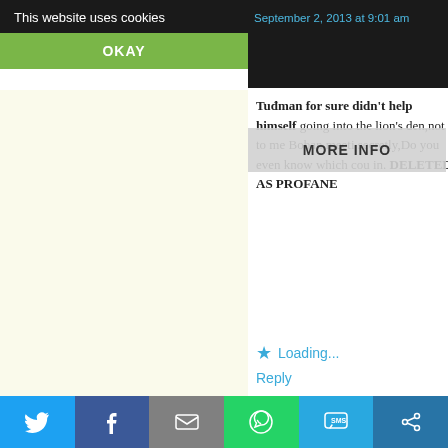This website uses cookies
OKAY
MORE INFO
Tuđman for sure didn't help himself going into the lion's den,not to meBoban meeting secretly,Do you even know which cou in. DELETED AS PROFANE
Loading...
Reply
therealamericro says:
September 3, 2013 at 6:39 pm
Funny how you forget that Alija and with Milosevic, Karadzic, Koljevic & AFTER Graz – after which, it must be went on the offensive in the Neretvа Bosnia, and Posavina against the JN. Remind me about the "deal" in Graz